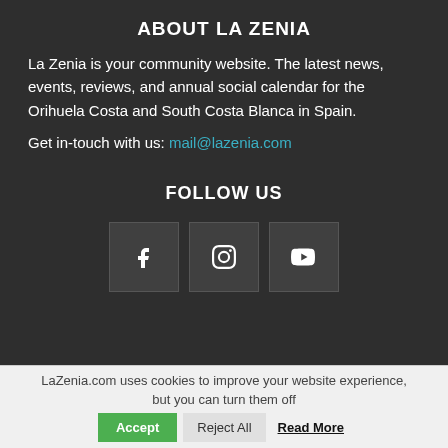ABOUT LA ZENIA
La Zenia is your community website. The latest news, events, reviews, and annual social calendar for the Orihuela Costa and South Costa Blanca in Spain.
Get in-touch with us: mail@lazenia.com
FOLLOW US
[Figure (infographic): Three social media icon buttons: Facebook (f), Instagram (camera), YouTube (play button)]
LaZenia.com uses cookies to improve your website experience, but you can turn them off  Accept  Reject All  Read More